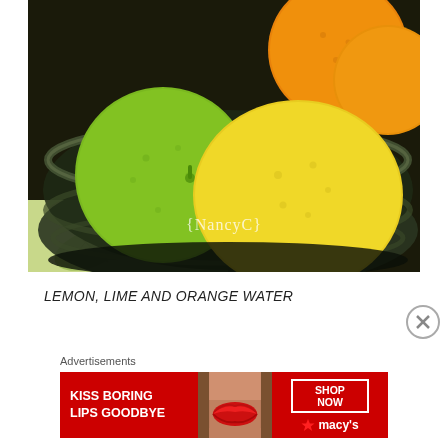[Figure (photo): A bowl of citrus fruits — lime (green), lemon (yellow-green), and orange — in a dark glass bowl. The bowl has '{NancyC}' text on it. Background shows a green tablecloth with leaf pattern.]
LEMON, LIME AND ORANGE WATER
Advertisements
[Figure (photo): Advertisement banner for Macy's lipstick. Red background with text 'KISS BORING LIPS GOODBYE' on left, photo of woman's lips in center, and 'SHOP NOW' button with Macy's star logo on right.]